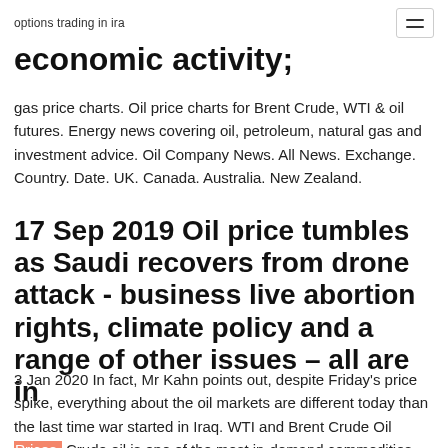options trading in ira
economic activity;
gas price charts. Oil price charts for Brent Crude, WTI & oil futures. Energy news covering oil, petroleum, natural gas and investment advice. Oil Company News. All News. Exchange. Country. Date. UK. Canada. Australia. New Zealand.
17 Sep 2019 Oil price tumbles as Saudi recovers from drone attack - business live abortion rights, climate policy and a range of other issues – all are in
3 Jan 2020 In fact, Mr Kahn points out, despite Friday's price spike, everything about the oil markets are different today than the last time war started in Iraq. WTI and Brent Crude Oil Prices. Crude oil is one of the most in-demand commodities, with the